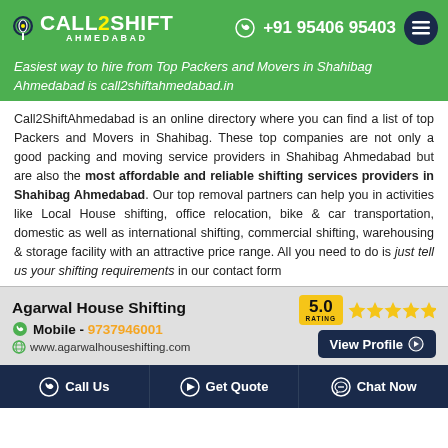[Figure (logo): Call2Shift Ahmedabad logo with green background, white text and phone icon]
+91 95406 95403
Easiest way to hire from Top Packers and Movers in Shahibag Ahmedabad is call2shiftahmedabad.in
Call2ShiftAhmedabad is an online directory where you can find a list of top Packers and Movers in Shahibag. These top companies are not only a good packing and moving service providers in Shahibag Ahmedabad but are also the most affordable and reliable shifting services providers in Shahibag Ahmedabad. Our top removal partners can help you in activities like Local House shifting, office relocation, bike & car transportation, domestic as well as international shifting, commercial shifting, warehousing & storage facility with an attractive price range. All you need to do is just tell us your shifting requirements in our contact form
Agarwal House Shifting
Mobile - 9737946001
www.agarwalhouseshifting.com
Call Us | Get Quote | Chat Now